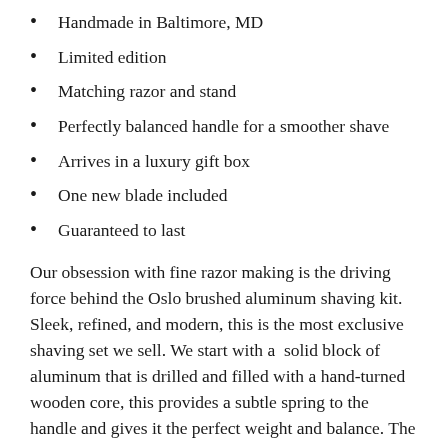Handmade in Baltimore, MD
Limited edition
Matching razor and stand
Perfectly balanced handle for a smoother shave
Arrives in a luxury gift box
One new blade included
Guaranteed to last
Our obsession with fine razor making is the driving force behind the Oslo brushed aluminum shaving kit. Sleek, refined, and modern, this is the most exclusive shaving set we sell. We start with a  solid block of aluminum that is drilled and filled with a hand-turned wooden core, this provides a subtle spring to the handle and gives it the perfect weight and balance. The wood-cored aluminum